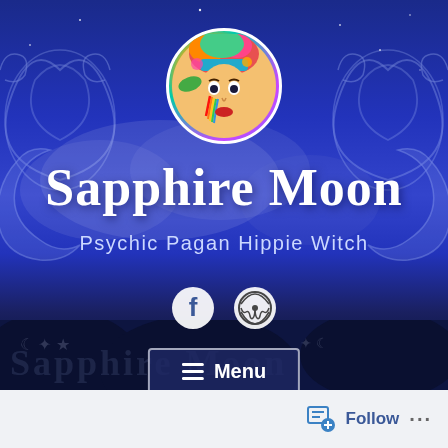[Figure (illustration): Website header screenshot for 'Sapphire Moon' blog. Deep blue sky background with Celtic trinity knot and crescent moon decorations on left and right sides. Clouds visible in mid-background. A circular profile photo at top center shows a colorful artistic portrait of a woman with rainbow face paint and a floral headdress. Large white Gothic/blackletter text reads 'Sapphire Moon'. Below in light blue sans-serif: 'Psychic Pagan Hippie Witch'. Two social media icons (Facebook and WordPress) appear below. A semi-transparent 'Menu' button with hamburger icon is at the bottom of the header. A white footer bar at the very bottom contains a 'Follow' button with icon and '...' dots.]